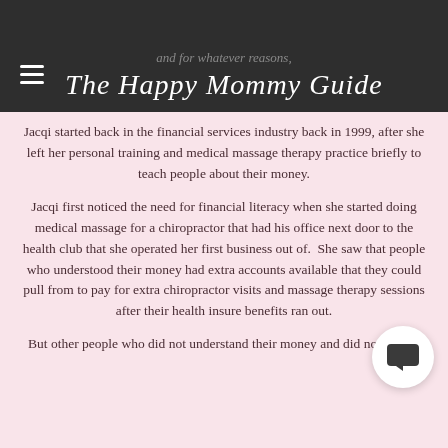and for whatever reasons.
The Happy Mommy Guide
Jacqi started back in the financial services industry back in 1999, after she left her personal training and medical massage therapy practice briefly to teach people about their money.
Jacqi first noticed the need for financial literacy when she started doing medical massage for a chiropractor that had his office next door to the health club that she operated her first business out of.  She saw that people who understood their money had extra accounts available that they could pull from to pay for extra chiropractor visits and massage therapy sessions after their health insure benefits ran out.
But other people who did not understand their money and did not have...